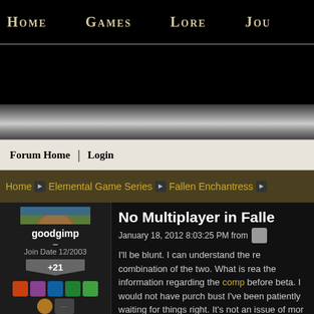Home   Games   Lore   Jou
Forum Home | Login
Home ▶ Elemental Game Series ▶ Fallen Enchantress ▶
No Multiplayer in Falle
January 18, 2012 8:03:25 PM from
goodgimp
Join Date 12/2003
+21
I'll be blunt. I can understand the re combination of the two. What is rea the information regarding the comp before beta. I would not have purch bust I've been patiently waiting for things right. It's not an issue of mor